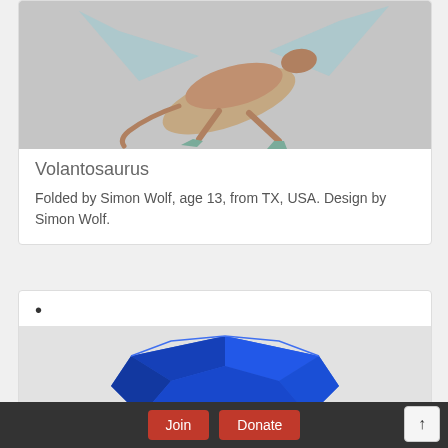[Figure (photo): Origami dinosaur (Volantosaurus) made from pale blue and tan paper, photographed against a grey background, appearing to be in mid-flight or dynamic pose]
Volantosaurus
Folded by Simon Wolf, age 13, from TX, USA. Design by Simon Wolf.
•
[Figure (photo): Blue geometric origami bowl or vessel shape, partially visible, on a light background]
Join   Donate